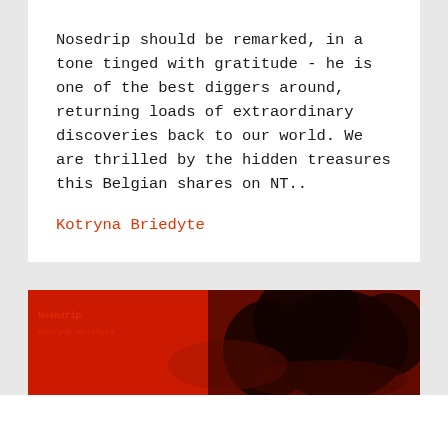Nosedrip should be remarked, in a tone tinged with gratitude - he is one of the best diggers around, returning loads of extraordinary discoveries back to our world. We are thrilled by the hidden treasures this Belgian shares on NT..
Kotryna Briedyte
[Figure (photo): A dark image with red background showing a silhouette figure, with some text partially visible on the left side in red tones.]